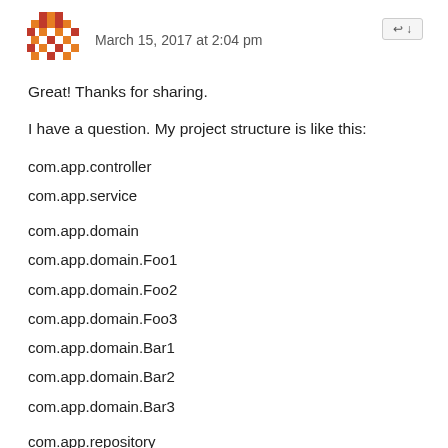March 15, 2017 at 2:04 pm
Great! Thanks for sharing.
I have a question. My project structure is like this:
com.app.controller
com.app.service
com.app.domain
com.app.domain.Foo1
com.app.domain.Foo2
com.app.domain.Foo3
com.app.domain.Bar1
com.app.domain.Bar2
com.app.domain.Bar3
com.app.repository
com.app.repository.Foo1Repository
com.app.repository.Foo3Repository